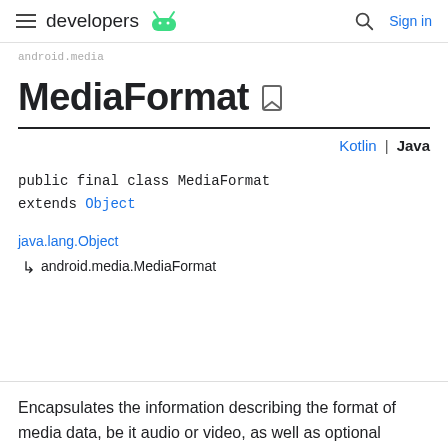developers (Android logo)  Sign in
android.media
MediaFormat
Kotlin | Java
public final class MediaFormat
extends Object
java.lang.Object
↳ android.media.MediaFormat
Encapsulates the information describing the format of media data, be it audio or video, as well as optional feature